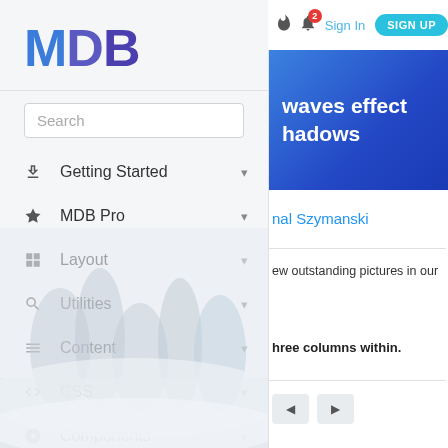[Figure (screenshot): MDB documentation website screenshot showing left sidebar navigation and right content area with hero banner]
MDB
Search
Getting Started
MDB Pro
Layout
Utilities
Content
CSS
Components
JavaScript
Sign In  SIGN UP
waves effect
hadows
nal Szymanski
ew outstanding pictures in our
hree columns within.